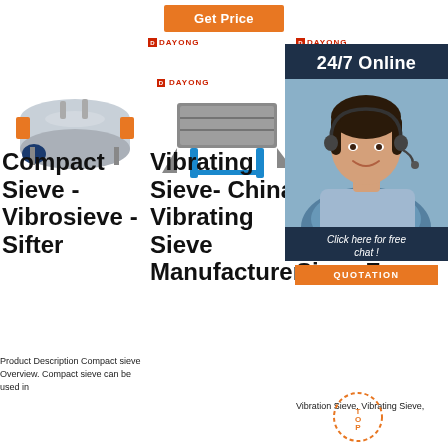[Figure (other): Orange 'Get Price' button at top center]
[Figure (photo): Compact Sieve / Vibrosieve / Sifter machine - stainless steel cylindrical machine with orange and blue components]
[Figure (photo): Dayong Vibrating Sieve - gray metal rectangular vibrating sieve with blue stand]
[Figure (photo): Dayong 24/7 Online customer service chat overlay with agent photo, 'Click here for free chat!' and QUOTATION button]
Compact Sieve - Vibrosieve - Sifter
Product Description Compact sieve Overview. Compact sieve can be used in
Vibrating Sieve- China Vibrating Sieve Manufacturers
Cl G Au Vibration Sieve For
Vibration Sieve, Vibrating Sieve,